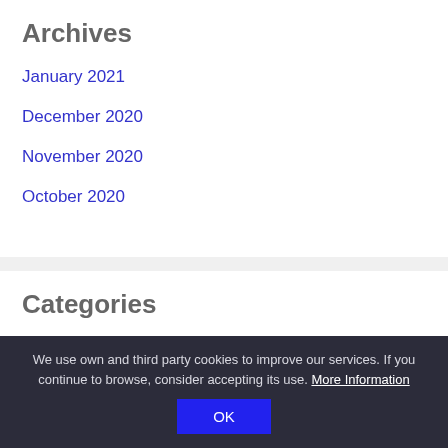Archives
January 2021
December 2020
November 2020
October 2020
Categories
News
Tips
We use own and third party cookies to improve our services. If you continue to browse, consider accepting its use. More Information OK